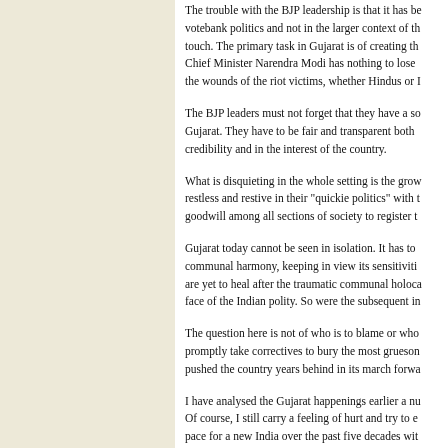The trouble with the BJP leadership is that it has been thinking in terms of votebank politics and not in the larger context of the country losing its touch. The primary task in Gujarat is of creating the right ambience. Chief Minister Narendra Modi has nothing to lose by trying to heal the wounds of the riot victims, whether Hindus or M...
The BJP leaders must not forget that they have a social contract with Gujarat. They have to be fair and transparent both in the interest of their credibility and in the interest of the country.
What is disquieting in the whole setting is the growing tendency to be restless and restive in their "quickie politics" with the result that the goodwill among all sections of society to register t...
Gujarat today cannot be seen in isolation. It has to be a torch bearer of communal harmony, keeping in view its sensitivities. The wounds in Gujarat are yet to heal after the traumatic communal holoca... face of the Indian polity. So were the subsequent i...
The question here is not of who is to blame or who... promptly take correctives to bury the most grueson... pushed the country years behind in its march forwa...
I have analysed the Gujarat happenings earlier a nu... Of course, I still carry a feeling of hurt and try to e... pace for a new India over the past five decades wit... where citizens of all religious, opinions, shades, ca... with a total commitment to the national good. The ...